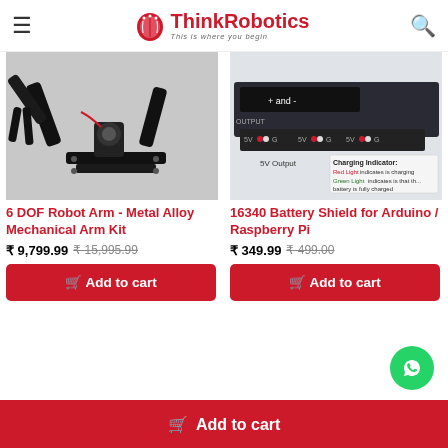ThinkRobotics — This is where you begin
[Figure (photo): 6 DOF Robot Arm metal alloy mechanical arm kit product photo]
6 DOF Robot Arm - Metal Alloy Mechanical Arm Kit
₹ 9,799.99  ₹ 15,995.99
Add to cart
[Figure (photo): 16340 Battery Shield for Arduino / Raspberry Pi product photo showing 5V output and charging indicator]
16340 Battery Shield for Arduino / Raspberry Pi
₹ 349.99  ₹ 499.00
Add to cart
Add to cart